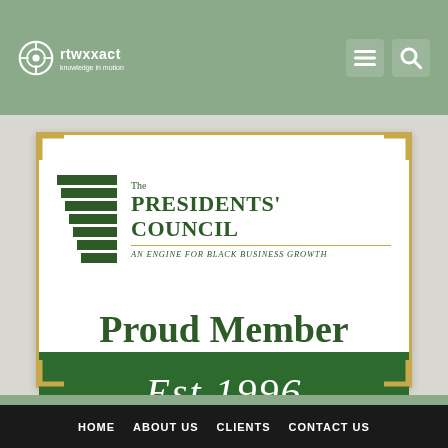rtwxxact
[Figure (logo): The Presidents' Council - An Engine for Black Business Growth. Proud Member. Est.1996. Membership badge with green and gold design.]
HOME  ABOUT US  CLIENTS  CONTACT US